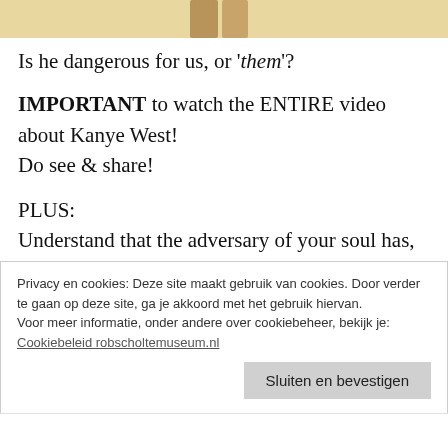[Figure (photo): Top portion of an image showing two figures, partially cropped, with a warm yellowish background.]
Is he dangerous for us, or 'them'?
IMPORTANT to watch the ENTIRE video about Kanye West! Do see & share!
PLUS:
Understand that the adversary of your soul has, and continues to manipulate your mind and your perception of reality, and is continuing to “dictate, ridicule, and intimidate”
Privacy en cookies: Deze site maakt gebruik van cookies. Door verder te gaan op deze site, ga je akkoord met het gebruik hiervan.
Voor meer informatie, onder andere over cookiebeheer, bekijk je:
Cookiebeleid robscholtemuseum.nl
Sluiten en bevestigen